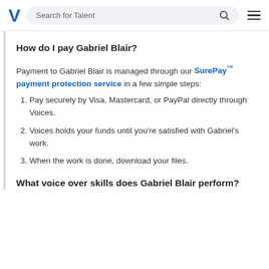Search for Talent
How do I pay Gabriel Blair?
Payment to Gabriel Blair is managed through our SurePay™ payment protection service in a few simple steps:
Pay securely by Visa, Mastercard, or PayPal directly through Voices.
Voices holds your funds until you're satisfied with Gabriel's work.
When the work is done, download your files.
What voice over skills does Gabriel Blair perform?